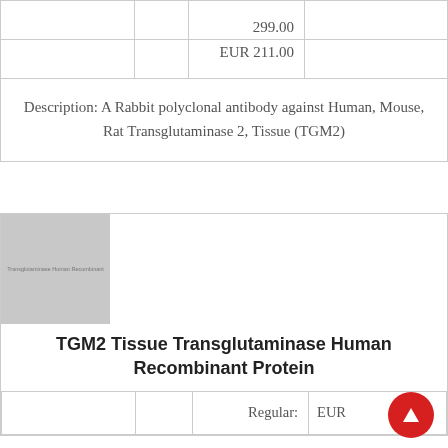|  |  | 299.00 |  |
|  |  | EUR 211.00 |  |
| Description: A Rabbit polyclonal antibody against Human, Mouse, Rat Transglutaminase 2, Tissue (TGM2) |
[Figure (photo): Product image placeholder showing TGM2 Tissue Transglutaminase Human Recombinant Protein label in gray]
TGM2 Tissue Transglutaminase Human Recombinant Protein
|  |  | Regular: | EUR |